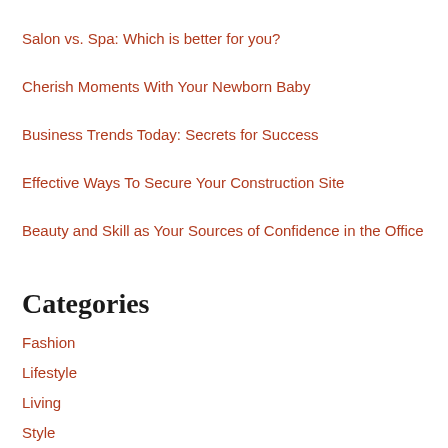Salon vs. Spa: Which is better for you?
Cherish Moments With Your Newborn Baby
Business Trends Today: Secrets for Success
Effective Ways To Secure Your Construction Site
Beauty and Skill as Your Sources of Confidence in the Office
Categories
Fashion
Lifestyle
Living
Style